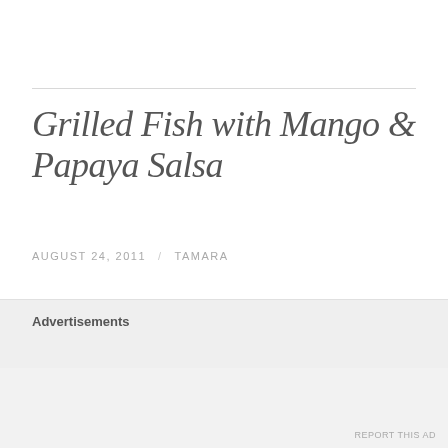Grilled Fish with Mango & Papaya Salsa
AUGUST 24, 2011 / TAMARA
Keeping with our light and fresh theme – grilled fish (you can use any firm white fish you like) and a fresh fruit salsa recipe makes for an easy dinner. Add steamed rice, fresh kale and Melon Balls in Lime Syrup for a complete meal.
Advertisements